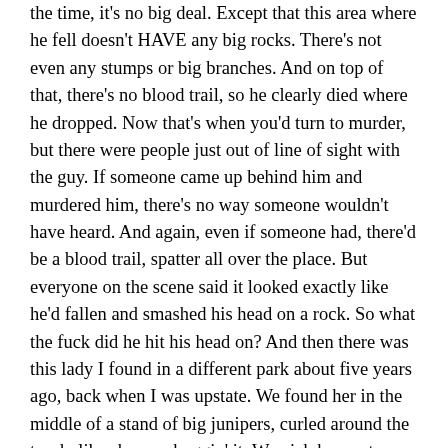the time, it's no big deal. Except that this area where he fell doesn't HAVE any big rocks. There's not even any stumps or big branches. And on top of that, there's no blood trail, so he clearly died where he dropped. Now that's when you'd turn to murder, but there were people just out of line of sight with the guy. If someone came up behind him and murdered him, there's no way someone wouldn't have heard. And again, even if someone had, there'd be a blood trail, spatter all over the place. But everyone on the scene said it looked exactly like he'd fallen and smashed his head on a rock. So what the fuck did he hit his head on? And then there was this lady I found in a different park about five years ago, back when I was upstate. We found her in the middle of a stand of big junipers, curled around the trunk, like she was huggin' it. We pick her up to move her, and a fucking waterfall comes out of her mouth, splashes all over my shoes. Her clothes are dry, and her hair is dry, but the amount of water in her lungs and stomach was phenomenal. Unreal, man. Coroners report? Says the cause of death was drowning. Her lungs were completely full of water. This, even though we're in the middle of the high desert, and there isn't a body of water for miles. No puddles, no nothing. No signs